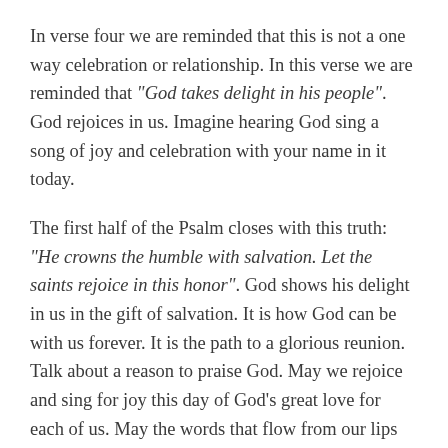In verse four we are reminded that this is not a one way celebration or relationship. In this verse we are reminded that “God takes delight in his people”. God rejoices in us. Imagine hearing God sing a song of joy and celebration with your name in it today.
The first half of the Psalm closes with this truth: “He crowns the humble with salvation. Let the saints rejoice in this honor”. God shows his delight in us in the gift of salvation. It is how God can be with us forever. It is the path to a glorious reunion. Talk about a reason to praise God. May we rejoice and sing for joy this day of God’s great love for each of us. May the words that flow from our lips and the secret things of our hearts all bring the Lord our praises today.
Prayer: Lord God, I rejoice in my place in your kingdom. As I fill it today may my life bring you the honor and the glory.